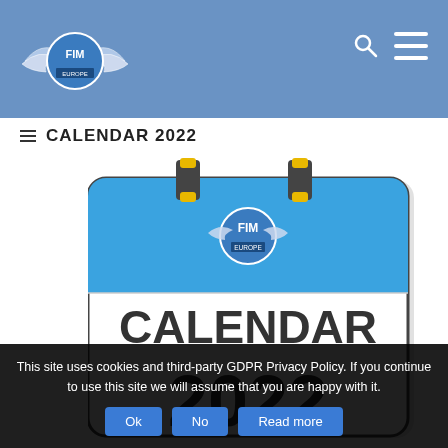[Figure (logo): FIM Europe logo with wings on blue navigation bar]
CALENDAR 2022
[Figure (illustration): FIM Europe Calendar 2022 graphic showing a calendar page with blue top section containing FIM Europe logo, and white bottom section with bold text reading CALENDAR 2022]
This site uses cookies and third-party GDPR Privacy Policy. If you continue to use this site we will assume that you are happy with it.
Ok  No  Read more